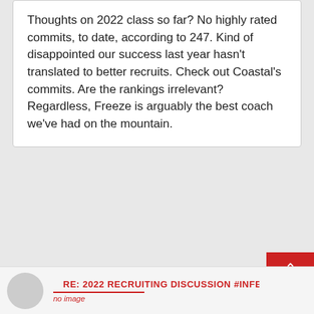Thoughts on 2022 class so far? No highly rated commits, to date, according to 247. Kind of disappointed our success last year hasn't translated to better recruits. Check out Coastal's commits. Are the rankings irrelevant? Regardless, Freeze is arguably the best coach we've had on the mountain.
RE: 2022 RECRUITING DISCUSSION #INFER